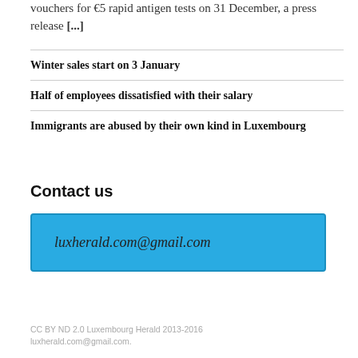vouchers for €5 rapid antigen tests on 31 December, a press release [...]
Winter sales start on 3 January
Half of employees dissatisfied with their salary
Immigrants are abused by their own kind in Luxembourg
Contact us
luxherald.com@gmail.com
CC BY ND 2.0 Luxembourg Herald 2013-2016
luxherald.com@gmail.com.